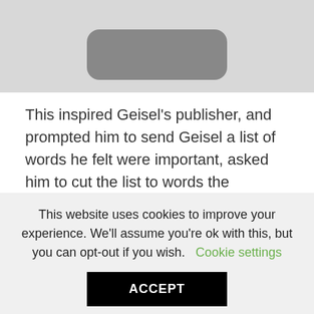[Figure (photo): Partial image cropped at top, showing a gray background with a dark rounded rectangle shape visible]
This inspired Geisel's publisher, and prompted him to send Geisel a list of words he felt were important, asked him to cut the list to words the publishers idea of how many words at one time a first grader could absorband write a
This website uses cookies to improve your experience. We'll assume you're ok with this, but you can opt-out if you wish.  Cookie settings
ACCEPT